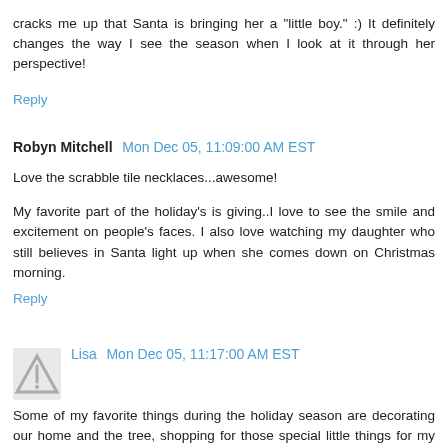cracks me up that Santa is bringing her a "little boy." :) It definitely changes the way I see the season when I look at it through her perspective!
Reply
Robyn Mitchell  Mon Dec 05, 11:09:00 AM EST
Love the scrabble tile necklaces...awesome!
My favorite part of the holiday's is giving..I love to see the smile and excitement on people's faces. I also love watching my daughter who still believes in Santa light up when she comes down on Christmas morning.
Reply
Lisa  Mon Dec 05, 11:17:00 AM EST
Some of my favorite things during the holiday season are decorating our home and the tree, shopping for those special little things for my kid's advent boxes, comfy PJ's and slippers, Starbucks, Christmas movies in the evening...